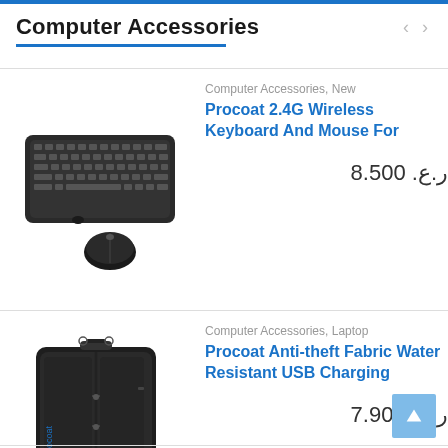Computer Accessories
[Figure (photo): A black wireless keyboard and mouse combo (Procoat 2.4G)]
Computer Accessories, New
Procoat 2.4G Wireless Keyboard And Mouse For
ر.ع. 8.500
[Figure (photo): A black anti-theft fabric laptop backpack (Procoat) with blue Procoat logo]
Computer Accessories, Laptop
Procoat Anti-theft Fabric Water Resistant USB Charging
ر.ع. 7.900